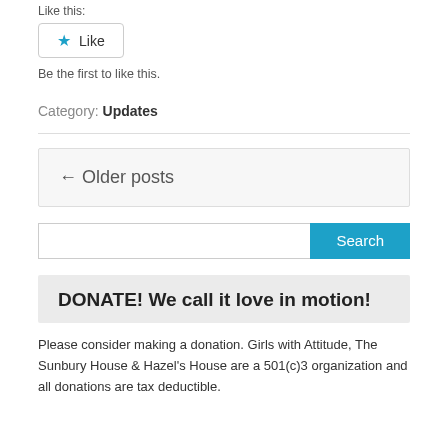Like this:
[Figure (other): Like button widget with blue star icon and 'Like' text]
Be the first to like this.
Category: Updates
← Older posts
[Figure (other): Search input box with blue Search button]
DONATE! We call it love in motion!
Please consider making a donation. Girls with Attitude, The Sunbury House & Hazel's House are a 501(c)3 organization and all donations are tax deductible.